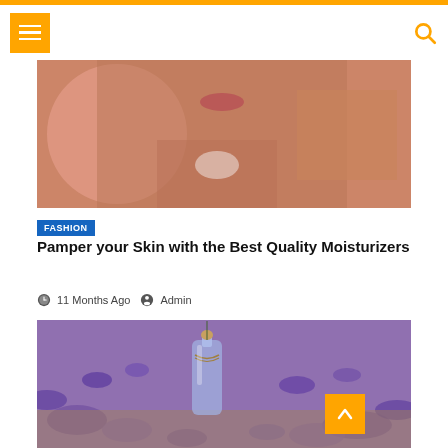Navigation header with menu button and search icon
[Figure (photo): Close-up of a person applying white cream moisturizer to their face and neck against a pink background]
FASHION
Pamper your Skin with the Best Quality Moisturizers
11 Months Ago  Admin
[Figure (photo): Glass bottle with cork stopper surrounded by purple lavender flowers on a wooden surface]